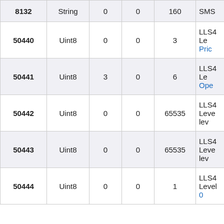| ID | Type | Col3 | Col4 | Max | Description |
| --- | --- | --- | --- | --- | --- |
| 8132 | String | 0 | 0 | 160 | SMS |
| 50440 | Uint8 | 0 | 0 | 3 | LLS4
Le
Pric |
| 50441 | Uint8 | 3 | 0 | 6 | LLS4
Le
Ope |
| 50442 | Uint8 | 0 | 0 | 65535 | LLS4
Level
lev |
| 50443 | Uint8 | 0 | 0 | 65535 | LLS4
Level
lev |
| 50444 | Uint8 | 0 | 0 | 1 | LLS4
Level
0 |